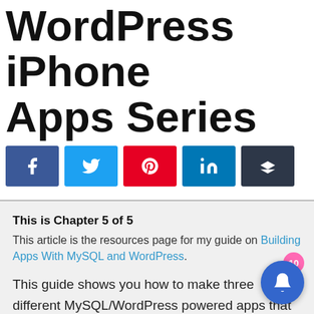WordPress iPhone Apps Series
[Figure (infographic): Social share buttons: Facebook, Twitter, Pinterest, LinkedIn, Buffer]
This is Chapter 5 of 5
This article is the resources page for my guide on Building Apps With MySQL and WordPress.
This guide shows you how to make three different MySQL/WordPress powered apps that all leverage the